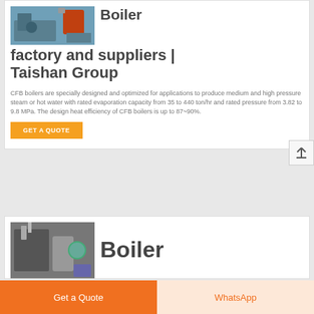[Figure (photo): Photo of a coal-fired boiler machine with red component, industrial setting]
Coal Fired Boiler factory and suppliers | Taishan Group
CFB boilers are specially designed and optimized for applications to produce medium and high pressure steam or hot water with rated evaporation capacity from 35 to 440 ton/hr and rated pressure from 3.82 to 9.8 MPa. The design heat efficiency of CFB boilers is up to 87~90%.
GET A QUOTE
[Figure (photo): Photo of a boiler system with pipes and industrial equipment in a facility]
Boiler
Get a Quote
WhatsApp